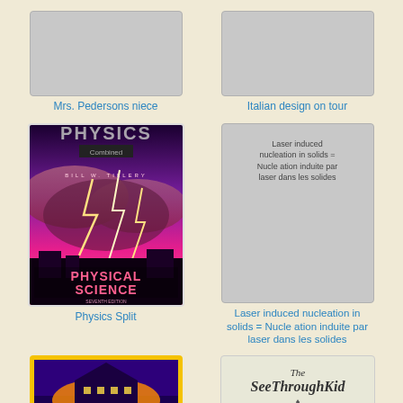[Figure (illustration): Gray placeholder book cover for Mrs. Pedersons niece]
Mrs. Pedersons niece
[Figure (illustration): Gray placeholder book cover for Italian design on tour]
Italian design on tour
[Figure (illustration): Physics Physical Science textbook cover showing lightning against purple/pink sky with storm clouds]
Physics Split
[Figure (illustration): Gray placeholder book cover with text: Laser induced nucleation in solids = Nucle ation induite par laser dans les solides]
Laser induced nucleation in solids = Nucle ation induite par laser dans les solides
[Figure (illustration): Partial book cover at bottom left showing building with yellow border]
[Figure (illustration): Partial book cover at bottom right showing The See Through Kid handwriting logo]